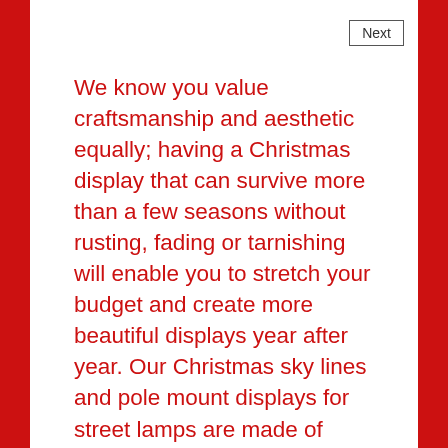Next
We know you value craftsmanship and aesthetic equally; having a Christmas display that can survive more than a few seasons without rusting, fading or tarnishing will enable you to stretch your budget and create more beautiful displays year after year. Our Christmas sky lines and pole mount displays for street lamps are made of aluminum frame construction with tempered steel powder coated steel bases. These displays are made to last. Your satisfaction is our priority. We've